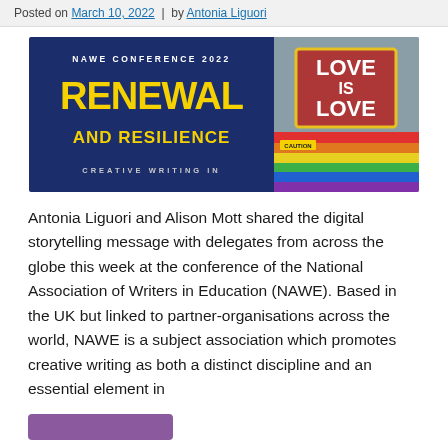Posted on March 10, 2022  |  by Antonia Liguori
[Figure (photo): NAWE Conference 2022 banner split into two parts: left side shows dark blue background with yellow text 'RENEWAL AND RESILIENCE - CREATIVE WRITING IN', right side shows a photo of a rainbow 'LOVE IS LOVE' banner with a CAUTION tape element]
Antonia Liguori and Alison Mott shared the digital storytelling message with delegates from across the globe this week at the conference of the National Association of Writers in Education (NAWE). Based in the UK but linked to partner-organisations across the world, NAWE is a subject association which promotes creative writing as both a distinct discipline and an essential element in